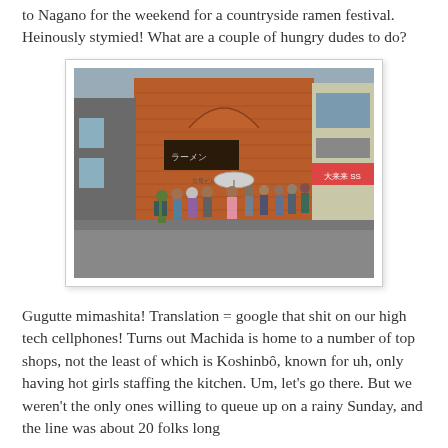to Nagano for the weekend for a countryside ramen festival. Heinously stymied! What are a couple of hungry dudes to do?
[Figure (photo): People queuing outside a Japanese ramen restaurant in a brick building on a rainy day. Several people stand in line on the sidewalk, one person holds an umbrella. Japanese signage visible on the building.]
Gugutte mimashita! Translation = google that shit on our high tech cellphones! Turns out Machida is home to a number of top shops, not the least of which is Koshinbô, known for uh, only having hot girls staffing the kitchen. Um, let's go there. But we weren't the only ones willing to queue up on a rainy Sunday, and the line was about 20 folks long